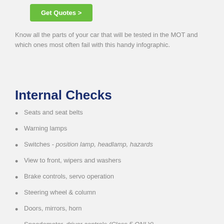[Figure (other): Green 'Get Quotes >' button]
Know all the parts of your car that will be tested in the MOT and which ones most often fail with this handy infographic.
Internal Checks
Seats and seat belts
Warning lamps
Switches - position lamp, headlamp, hazards
View to front, wipers and washers
Brake controls, servo operation
Steering wheel & column
Doors, mirrors, horn
Speedometer, driver controls (Class 5 ONLY)